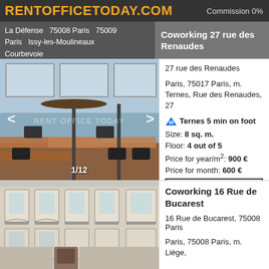RENTOFFICETODAY.COM    Commission 0%
La Défense  75008 Paris  75009 Paris  Issy-les-Moulineaux  Courbevoie
Coworking 27 rue des Renaudes
[Figure (photo): Interior of a coworking office space with desks and chairs, showing 1/12 image counter]
27 rue des Renaudes
Paris, 75017 Paris, m. Ternes, Rue des Renaudes, 27
M Ternes 5 min on foot
Size: 8 sq. m.
Floor: 4 out of 5
Price for year/m²: 900 €
Price for month: 600 €
More
[Figure (photo): Exterior facade of a Haussmann-style building in Paris]
Coworking 16 Rue de Bucarest
16 Rue de Bucarest, 75008 Paris
Paris, 75008 Paris, m. Liège,